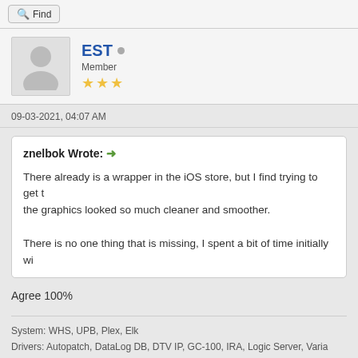Find
EST • Member ★★★
09-03-2021, 04:07 AM
znelbok Wrote: → There already is a wrapper in the iOS store, but I find trying to get the graphics looked so much cleaner and smoother. There is no one thing that is missing, I spent a bit of time initially wi...
Agree 100%
System: WHS, UPB, Plex, Elk
Drivers: Autopatch, DataLog DB, DTV IP, GC-100, IRA, Logic Server, Varia...
Find